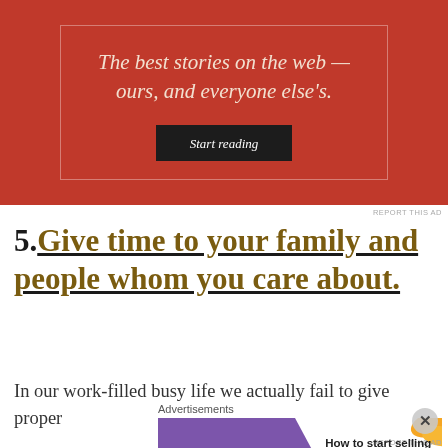[Figure (other): Red advertisement banner with italic text 'The best stories on the web — ours, and everyone else's.' and a dark 'Start reading' button, with white/cream inner border]
REPORT THIS AD
5. Give time to your family and people whom you care about.
In our work-filled busy life we actually fail to give proper
Advertisements
[Figure (other): WooCommerce advertisement banner: purple background with WooCommerce logo and arrow, white section with text 'How to start selling subscriptions online' and orange/blue leaf decorations]